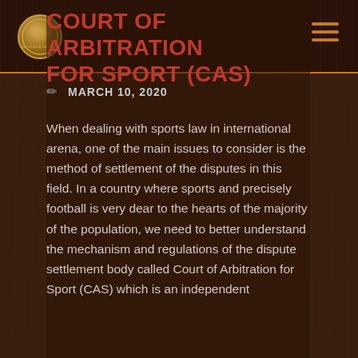[Figure (logo): International Law Office logo - circular emblem with Arabic text and decorative design]
COURT OF ARBITRATION FOR SPORT (CAS)
MARCH 10, 2020
When dealing with sports law in international arena, one of the main issues to consider is the method of settlement of the disputes in this field. In a country where sports and precisely football is very dear to the hearts of the majority of the population, we need to better understand the mechanism and regulations of the dispute settlement body called Court of Arbitration for Sport (CAS) which is an independent